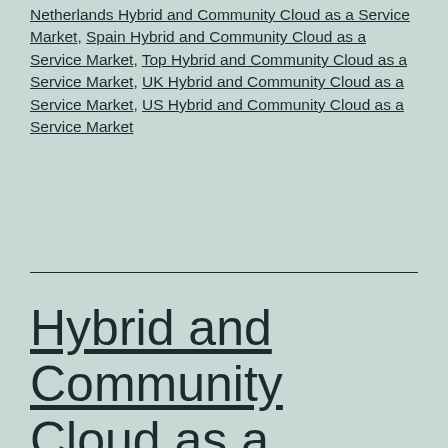Netherlands Hybrid and Community Cloud as a Service Market, Spain Hybrid and Community Cloud as a Service Market, Top Hybrid and Community Cloud as a Service Market, UK Hybrid and Community Cloud as a Service Market, US Hybrid and Community Cloud as a Service Market
Hybrid and Community Cloud as a Service Market to Witness Steady